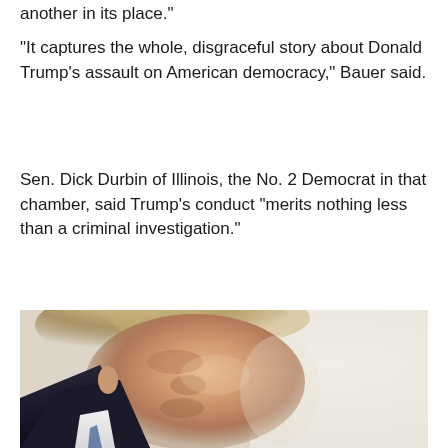another in its place."
"It captures the whole, disgraceful story about Donald Trump's assault on American democracy," Bauer said.
Sen. Dick Durbin of Illinois, the No. 2 Democrat in that chamber, said Trump's conduct "merits nothing less than a criminal investigation."
[Figure (photo): Side profile photograph of Donald Trump showing his face and hair from a right-side angle, wearing a dark suit with white collar/shirt visible at the bottom. Light/cream background on the right side of the image.]